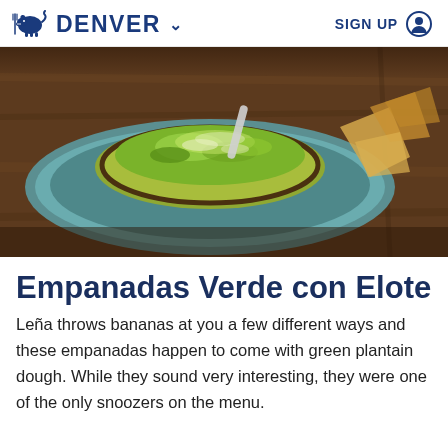DENVER   SIGN UP
[Figure (photo): A bowl of guacamole or green plantain-based dish served in a yellow-green ceramic bowl on a teal plate, on a wooden table, with tortilla chips visible on the right side.]
Empanadas Verde con Elote
Leña throws bananas at you a few different ways and these empanadas happen to come with green plantain dough. While they sound very interesting, they were one of the only snoozers on the menu.